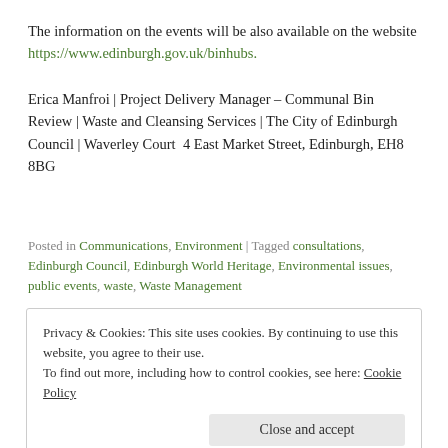The information on the events will be also available on the website https://www.edinburgh.gov.uk/binhubs.
Erica Manfroi | Project Delivery Manager – Communal Bin Review | Waste and Cleansing Services | The City of Edinburgh Council | Waverley Court  4 East Market Street, Edinburgh, EH8 8BG
Posted in Communications, Environment | Tagged consultations, Edinburgh Council, Edinburgh World Heritage, Environmental issues, public events, waste, Waste Management
Privacy & Cookies: This site uses cookies. By continuing to use this website, you agree to their use.
To find out more, including how to control cookies, see here: Cookie Policy
Close and accept